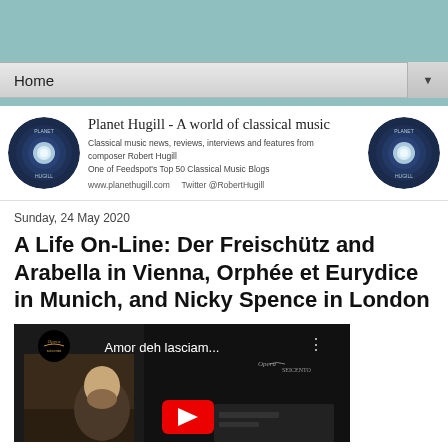Planet Hugill - A world of classical music | Classical music news, reviews, interviews and features from composer Robert Hugill | One of Feedspot's Top 50 Classical Music Blogs | www.planethugill.com | Twitter @RobertHugill
Sunday, 24 May 2020
A Life On-Line: Der Freischütz and Arabella in Vienna, Orphée et Eurydice in Munich, and Nicky Spence in London
[Figure (screenshot): YouTube video thumbnail showing a man with a beard, with text overlay reading 'Amor deh lasciam...' and opera logos]